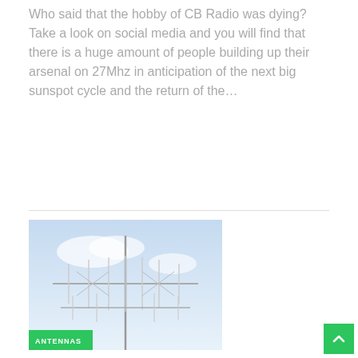Who said that the hobby of CB Radio was dying? Take a look on social media and you will find that there is a huge amount of people building up their arsenal on 27Mhz in anticipation of the next big sunspot cycle and the return of the…
[Figure (photo): Photograph of a large CB radio antenna array against a blue sky, with a green 'ANTENNAS' badge in the lower left corner.]
The Biggest CB Antenna in Australia
Dean • Mar 18, 2020
Is this the largest CB Antenna in Australia? If it's not I would certainly like to hear about it. There is no doubt that when it comes to working DX the quad is in a league of it's own. https://www.youtube.com/watch?v=gkMoH8wIYRQ A…